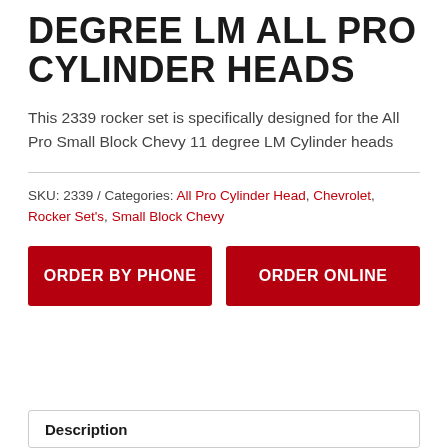DEGREE LM ALL PRO CYLINDER HEADS
This 2339 rocker set is specifically designed for the All Pro Small Block Chevy 11 degree LM Cylinder heads
SKU: 2339 / Categories: All Pro Cylinder Head, Chevrolet, Rocker Set's, Small Block Chevy
ORDER BY PHONE | ORDER ONLINE
Description